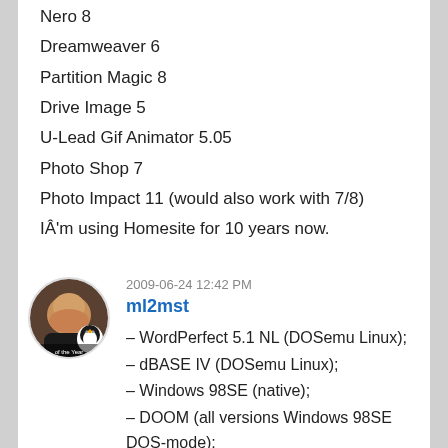Nero 8
Dreamweaver 6
Partition Magic 8
Drive Image 5
U-Lead Gif Animator 5.05
Photo Shop 7
Photo Impact 11 (would also work with 7/8)
IÂ'm using Homesite for 10 years now.
2009-06-24 12:42 PM
ml2mst
– WordPerfect 5.1 NL (DOSemu Linux);
– dBASE IV (DOSemu Linux);
– Windows 98SE (native);
– DOOM (all versions Windows 98SE DOS-mode);
– Redneck Rampage series (Win98SE DOS-mode);
– BL00D...